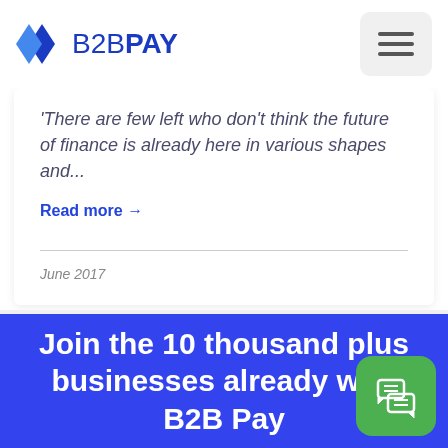B2BPAY
There are few left who don't think the future of finance is already here in various shapes and...
Read more →
June 2017
Join the 10 thousand plus businesses already with B2B Pay